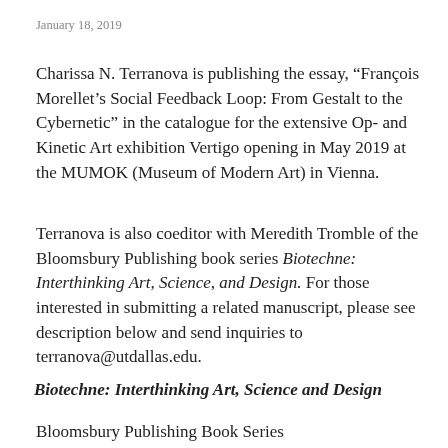January 18, 2019
Charissa N. Terranova is publishing the essay, “François Morellet’s Social Feedback Loop: From Gestalt to the Cybernetic” in the catalogue for the extensive Op- and Kinetic Art exhibition Vertigo opening in May 2019 at the MUMOK (Museum of Modern Art) in Vienna.
Terranova is also coeditor with Meredith Tromble of the Bloomsbury Publishing book series Biotechne: Interthinking Art, Science, and Design. For those interested in submitting a related manuscript, please see description below and send inquiries to terranova@utdallas.edu.
Biotechne: Interthinking Art, Science and Design
Bloomsbury Publishing Book Series